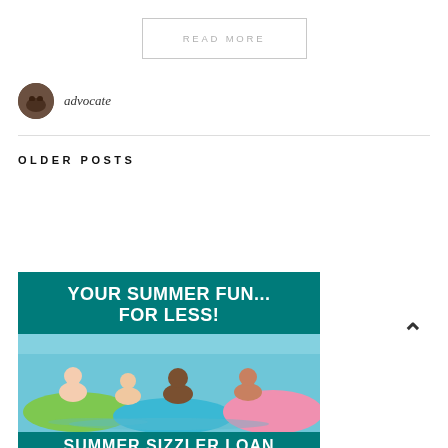READ MORE
advocate
OLDER POSTS
[Figure (photo): Advertisement banner with teal background showing people on pool floats with text 'YOUR SUMMER FUN... FOR LESS!' and 'SUMMER SIZZLER LOAN']